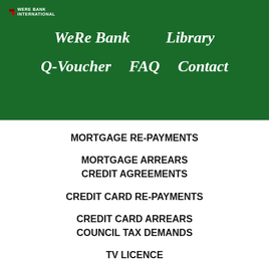[Figure (logo): WeRe Bank logo with red diamond icon and small text]
WeRe Bank    Library    Q-Voucher    FAQ    Contact
MORTGAGE RE-PAYMENTS
MORTGAGE ARREARS
CREDIT AGREEMENTS
CREDIT CARD RE-PAYMENTS
CREDIT CARD ARREARS
COUNCIL TAX DEMANDS
TV LICENCE
ROAD TAX